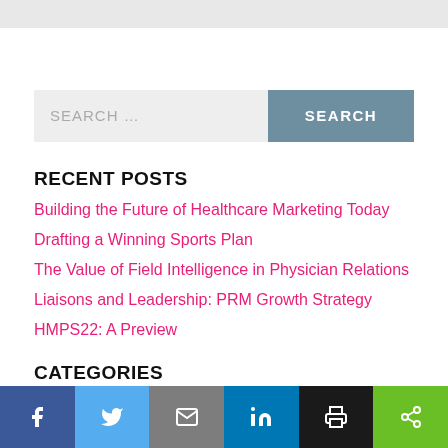SEARCH ...
RECENT POSTS
Building the Future of Healthcare Marketing Today
Drafting a Winning Sports Plan
The Value of Field Intelligence in Physician Relations
Liaisons and Leadership: PRM Growth Strategy
HMPS22: A Preview
CATEGORIES
Communications
f  Twitter  Email  in  Print  Share